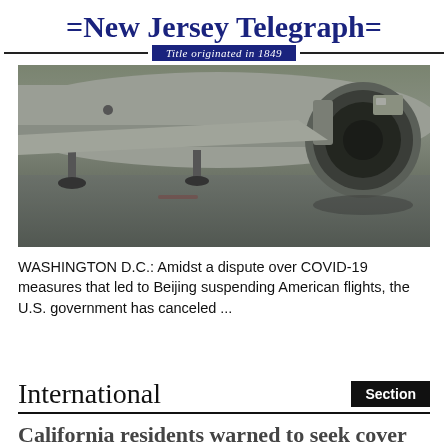=New Jersey Telegraph= Title originated in 1849
[Figure (photo): Close-up photograph of the underside of a commercial airplane on a tarmac, showing landing gear and a large jet engine on the right side. The image is dark with grayish-green tones.]
WASHINGTON D.C.: Amidst a dispute over COVID-19 measures that led to Beijing suspending American flights, the U.S. government has canceled ...
International
California residents warned to seek cover during heat wave